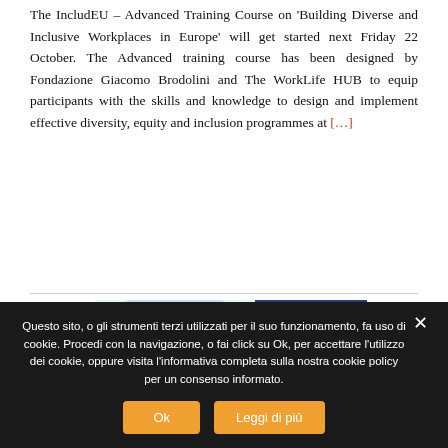The IncludEU – Advanced Training Course on 'Building Diverse and Inclusive Workplaces in Europe' will get started next Friday 22 October. The Advanced training course has been designed by Fondazione Giacomo Brodolini and The WorkLife HUB to equip participants with the skills and knowledge to design and implement effective diversity, equity and inclusion programmes at [...]
[Figure (other): IncludEU Advanced Training Course promotional image showing logo, text 'dvanced raining course n building' and a photo of people high-fiving]
Questo sito, o gli strumenti terzi utilizzati per il suo funzionamento, fa uso di cookie. Procedi con la navigazione, o fai click su Ok, per accettare l'utilizzo dei cookie, oppure visita l'informativa completa sulla nostra cookie policy per un consenso informato.